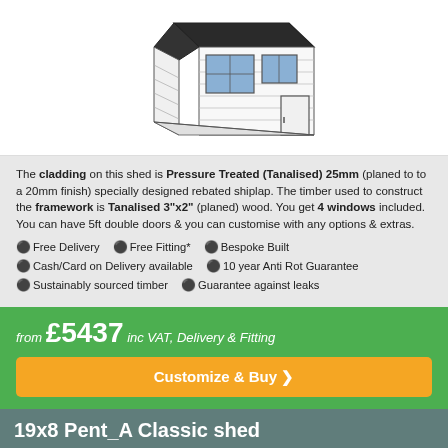[Figure (illustration): Line drawing illustration of a shed with windows and double doors, isometric view]
The cladding on this shed is Pressure Treated (Tanalised) 25mm (planed to to a 20mm finish) specially designed rebated shiplap. The timber used to construct the framework is Tanalised 3"x2" (planed) wood. You get 4 windows included. You can have 5ft double doors & you can customise with any options & extras.
✅ Free Delivery   ✅ Free Fitting*   ✅ Bespoke Built
✅ Cash/Card on Delivery available   ✅ 10 year Anti Rot Guarantee
✅ Sustainably sourced timber   ✅ Guarantee against leaks
from £5437 inc VAT, Delivery & Fitting
Customize & Buy ❯
19x8 Pent_A Classic shed
[Figure (illustration): Partial line drawing of another shed model at the bottom of the page]